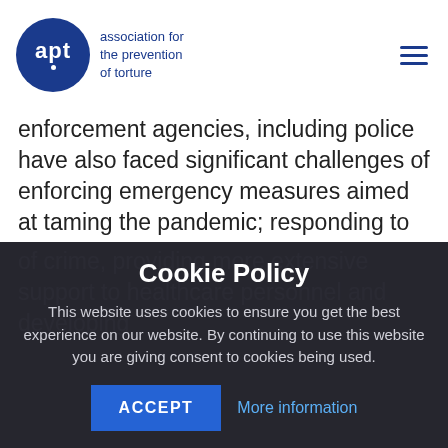apt - association for the prevention of torture
enforcement agencies, including police have also faced significant challenges of enforcing emergency measures aimed at taming the pandemic; responding to reported increases in domestic violence, as well as to emerging forms of crime, providing more extensive support to healthcare personnel and developing
Cookie Policy
This website uses cookies to ensure you get the best experience on our website. By continuing to use this website you are giving consent to cookies being used.
ACCEPT   More information